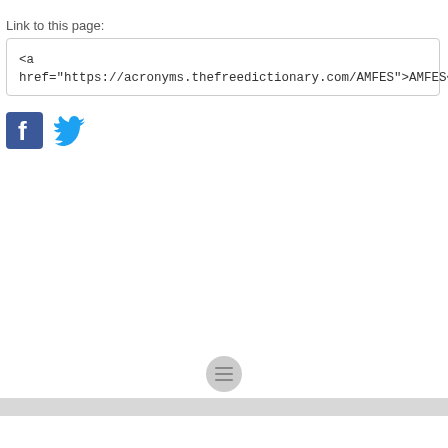Link to this page:
<a href="https://acronyms.thefreedictionary.com/AMFES">AMFES</a>
[Figure (other): Facebook and Twitter social sharing icons]